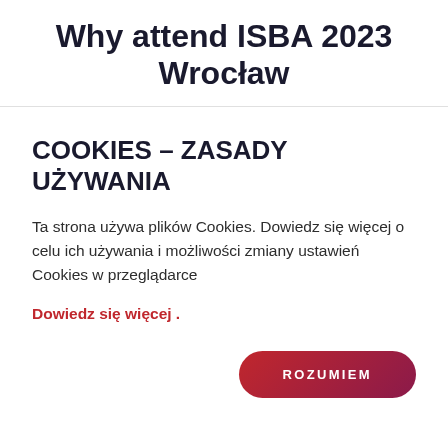Why attend ISBA 2023 Wrocław
COOKIES – ZASADY UŻYWANIA
Ta strona używa plików Cookies. Dowiedz się więcej o celu ich używania i możliwości zmiany ustawień Cookies w przeglądarce
Dowiedz się więcej .
ROZUMIEM